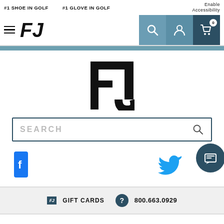#1 SHOE IN GOLF   #1 GLOVE IN GOLF   Enable Accessibility
[Figure (logo): FootJoy FJ logo in navigation bar]
[Figure (logo): Large centered FootJoy FJ logo]
SEARCH
[Figure (illustration): Social media icons: Facebook, Twitter, YouTube]
GIFT CARDS   800.663.0929
OUR COMPANY